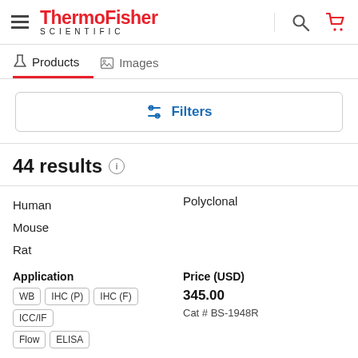[Figure (logo): ThermoFisher Scientific logo - red ThermoFisher text with black SCIENTIFIC below]
Products   Images
Filters
44 results
Human
Mouse
Rat
Polyclonal
Application
WB  IHC (P)  IHC (F)  ICC/IF
Flow  ELISA
Price (USD)
345.00
Cat # BS-1948R